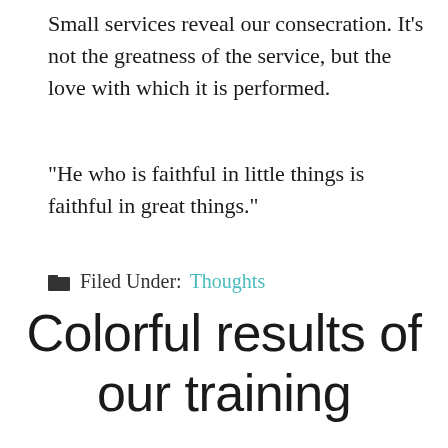Small services reveal our consecration. It’s not the greatness of the service, but the love with which it is performed.
“He who is faithful in little things is faithful in great things.”
Filed Under: Thoughts
Colorful results of our training